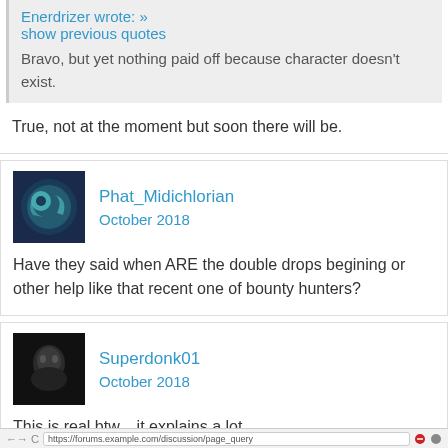Enerdrizer wrote: »
show previous quotes
Bravo, but yet nothing paid off because character doesn't exist.
True, not at the moment but soon there will be.
Phat_Midichlorian
October 2018
Have they said when ARE the double drops begining or other help like that recent one of bounty hunters?
Superdonk01
October 2018
This is real btw....it explains a lot...